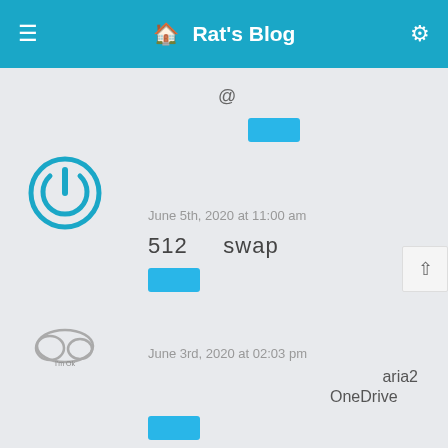Rat's Blog
@
June 5th, 2020 at 11:00 am
512    swap
June 3rd, 2020 at 02:03 pm
aria2  OneDrive
June 1st, 2020 at 04:03 pm
OneDriveUploader    OneDriv